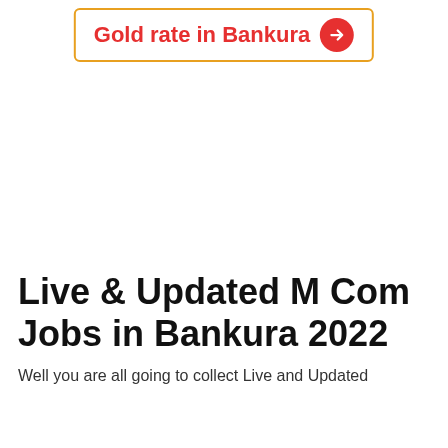[Figure (other): Button-style banner with orange border containing red text 'Gold rate in Bankura' and a red circle with white arrow]
Live & Updated M Com Jobs in Bankura 2022
Well you are all going to collect Live and Updated